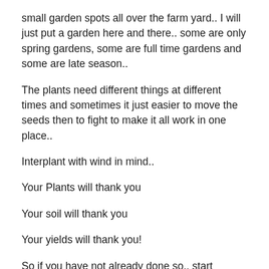small garden spots all over the farm yard.. I will just put a garden here and there.. some are only spring gardens, some are full time gardens and some are late season..
The plants need different things at different times and sometimes it just easier to move the seeds then to fight to make it all work in one place..
Interplant with wind in mind..
Your Plants will thank you
Your soil will thank you
Your yields will thank you!
So if you have not already done so.. start tracking where you winds are coming from, how they move around your landscape, and start planning on how to work with them